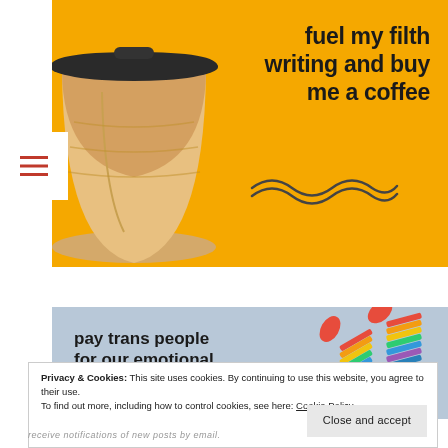[Figure (illustration): Yellow background banner with coffee cup illustration and text 'fuel my filth writing and buy me a coffee' with a squiggle underline decoration]
[Figure (illustration): Light blue background banner with bold text 'pay trans people for our emotional labour' and rainbow striped legs/socks illustration on the right, with squiggle decoration]
Privacy & Cookies: This site uses cookies. By continuing to use this website, you agree to their use.
To find out more, including how to control cookies, see here: Cookie Policy
Close and accept
receive notifications of new posts by email.